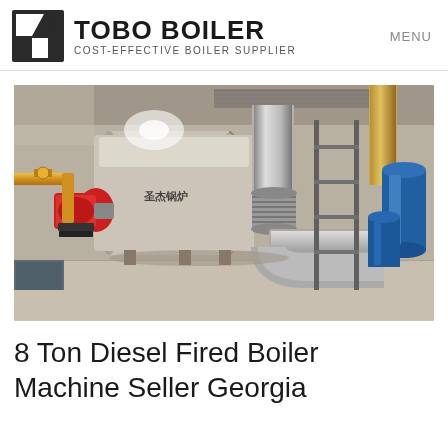TOBO BOILER — COST-EFFECTIVE BOILER SUPPLIER | MENU
[Figure (photo): Industrial diesel fired boiler machine installed in a factory setting. Large cylindrical boiler body with silver/metallic insulated pipes and exhaust ducts, a red diesel burner on the left, yellow gas piping on the left wall, and blue water treatment tanks on the right side.]
8 Ton Diesel Fired Boiler Machine Seller Georgia